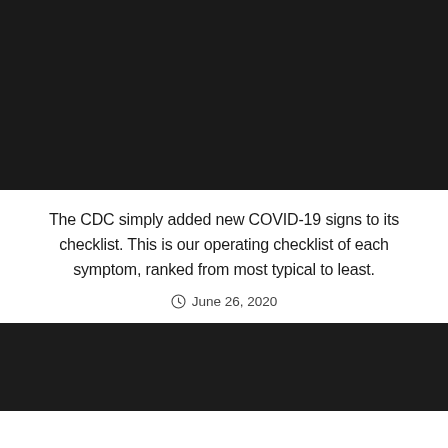[Figure (photo): Dark/black image area at the top of the page, likely a photo related to COVID-19 article]
The CDC simply added new COVID-19 signs to its checklist. This is our operating checklist of each symptom, ranked from most typical to least.
June 26, 2020
[Figure (photo): Dark/black image area at the bottom of the page, partially visible]